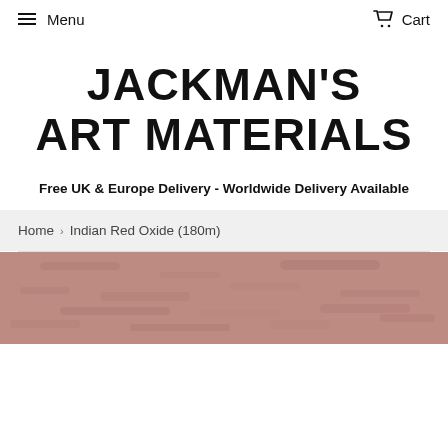Menu   Cart
[Figure (logo): Jackman's Art Materials logo in bold hand-lettered black text]
Free UK & Europe Delivery - Worldwide Delivery Available
Home › Indian Red Oxide (180m)
[Figure (photo): Close-up photo of Indian Red Oxide pigment/powder with a muted reddish-brown granular texture]